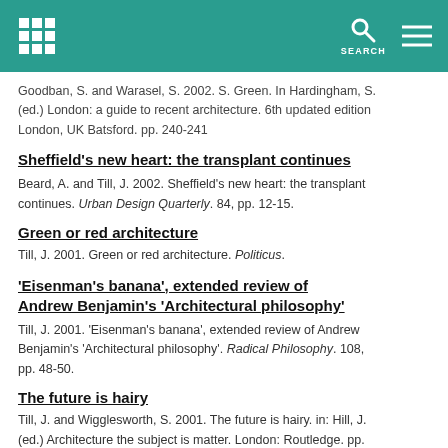SEARCH
Goodban, S. and Warasel, S. 2002. S. Green. In Hardingham, S. (ed.) London: a guide to recent architecture. 6th updated edition London, UK Batsford. pp. 240-241
Sheffield's new heart: the transplant continues
Beard, A. and Till, J. 2002. Sheffield's new heart: the transplant continues. Urban Design Quarterly. 84, pp. 12-15.
Green or red architecture
Till, J. 2001. Green or red architecture. Politicus.
'Eisenman's banana', extended review of Andrew Benjamin's 'Architectural philosophy'
Till, J. 2001. 'Eisenman's banana', extended review of Andrew Benjamin's 'Architectural philosophy'. Radical Philosophy. 108, pp. 48-50.
The future is hairy
Till, J. and Wigglesworth, S. 2001. The future is hairy. in: Hill, J. (ed.) Architecture the subject is matter. London: Routledge. pp.